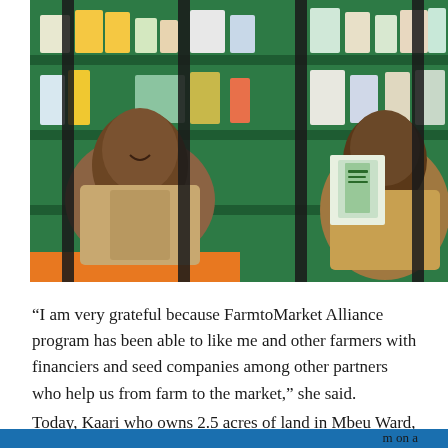[Figure (photo): A woman behind metal bars/grating at what appears to be an agro-dealer shop with green shelving stocked with agricultural products (seeds, fertilizers, chemicals). A customer on the right side is holding what appears to be seed packets. There is an orange counter at the bottom left.]
“I am very grateful because FarmtoMarket Alliance program has been able to like me and other farmers with financiers and seed companies among other partners who help us from farm to the market,” she said.
Today, Kaari who owns 2.5 acres of land in Mbeu Ward, m on a